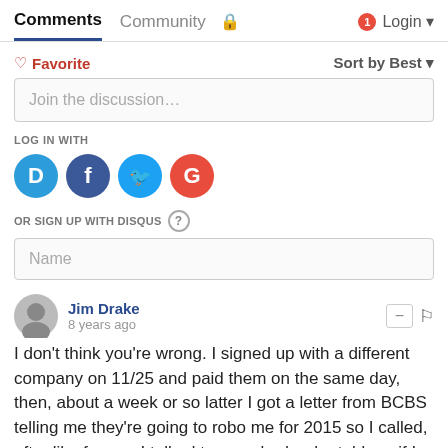Comments  Community  Login
♡ Favorite   Sort by Best
Join the discussion…
LOG IN WITH
[Figure (logo): Social login icons: Disqus (D), Facebook (f), Twitter bird, Google (G)]
OR SIGN UP WITH DISQUS ?
Name
Jim Drake
8 years ago
I don't think you're wrong. I signed up with a different company on 11/25 and paid them on the same day, then, about a week or so latter I got a letter from BCBS telling me they're going to robo me for 2015 so I called, after like forever I talked to somebody, she told me if I signed with